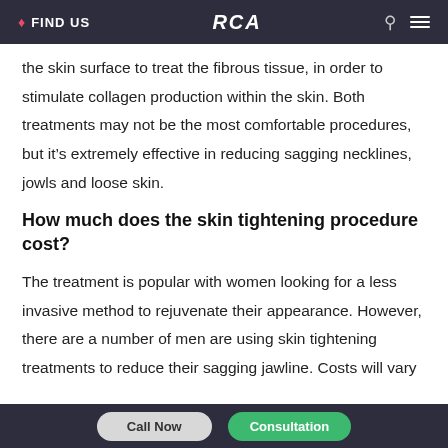FIND US   RCA
the skin surface to treat the fibrous tissue, in order to stimulate collagen production within the skin. Both treatments may not be the most comfortable procedures, but it’s extremely effective in reducing sagging necklines, jowls and loose skin.
How much does the skin tightening procedure cost?
The treatment is popular with women looking for a less invasive method to rejuvenate their appearance. However, there are a number of men are using skin tightening treatments to reduce their sagging jawline. Costs will vary
Call Now   Consultation